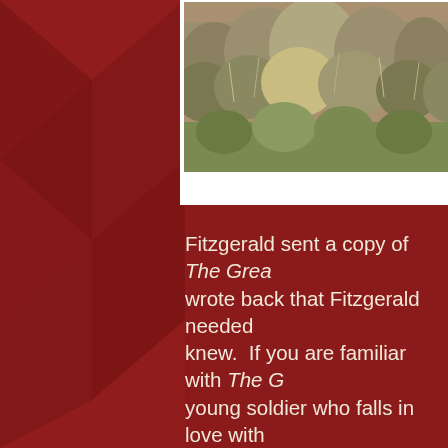[Figure (photo): Photograph of dry desert scrub brush and wild grasses, appearing as a landscape scene with brown and olive-colored vegetation]
Fitzgerald sent a copy of The Grea... wrote back that Fitzgerald needed ... knew.  If you are familiar with The G... young soldier who falls in love with ... is the story of Zelda Sayre, who ini... novel was published and he becam...